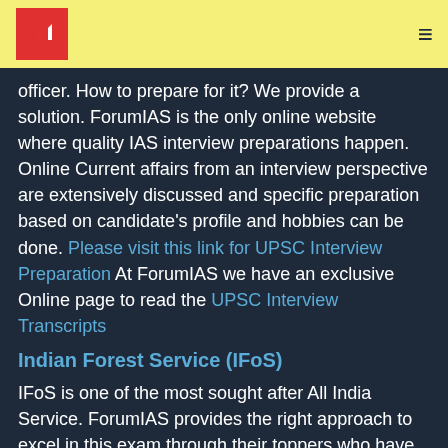ForumIAS logo and navigation
officer. How to prepare for it? We provide a solution. ForumIAS is the only online website where quality IAS interview preparations happen. Online Current affairs from an interview perspective are extensively discussed and specific preparation based on candidate's profile and hobbies can be done. Please visit this link for UPSC Interview Preparation At ForumIAS we have an exclusive Online page to read the UPSC Interview Transcripts
Indian Forest Service (IFoS)
IFoS is one of the most sought after All India Service. ForumIAS provides the right approach to excel in this exam through their toppers who have shared their success mantras and their study materials in an elaborate manner.
About Indian Administrative Service (IAS)